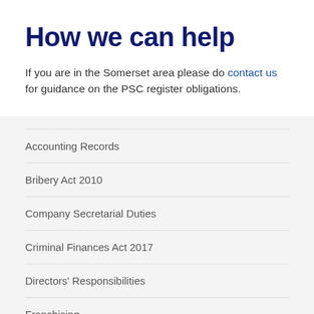How we can help
If you are in the Somerset area please do contact us for guidance on the PSC register obligations.
Accounting Records
Bribery Act 2010
Company Secretarial Duties
Criminal Finances Act 2017
Directors' Responsibilities
Franchising
Fraud And How To Spot It - Ten Step Guide